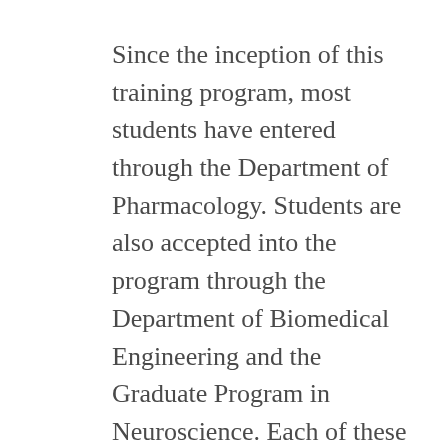Since the inception of this training program, most students have entered through the Department of Pharmacology. Students are also accepted into the program through the Department of Biomedical Engineering and the Graduate Program in Neuroscience. Each of these Ph.D. programs requires 64 credit hours for completion plus a qualifying examination and a successful oral defense. Each of the programs has specific requirements,